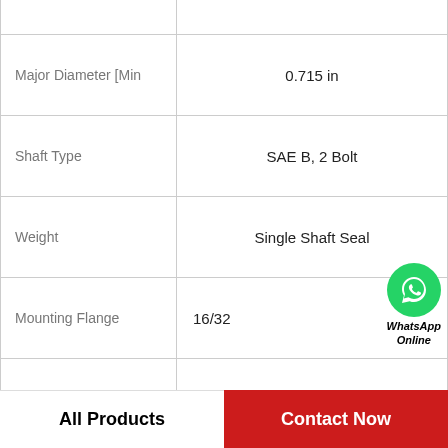| Property | Value |
| --- | --- |
|  |  |
| Major Diameter [Min | 0.715 in |
| Shaft Type | SAE B, 2 Bolt |
| Weight | Single Shaft Seal |
| Mounting Flange | 16/32 |
| GPM @ 1,800 rpm, Cover End | 2700 |
| Cover End RPM [Max | 2700 |
| Model No. | N/A |
|  | 14 gal/min @ 1200 rpm, 21 gal/min @ |
All Products
Contact Now